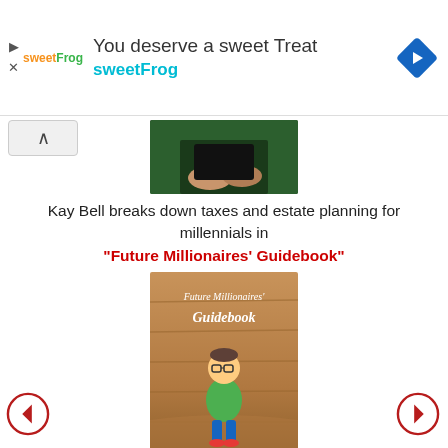[Figure (screenshot): SweetFrog advertisement banner with logo, text 'You deserve a sweet Treat' and 'sweetFrog', and a blue diamond navigation arrow icon]
[Figure (photo): Partial photo showing hands holding a dark object, cropped at top]
Kay Bell breaks down taxes and estate planning for millennials in "Future Millionaires' Guidebook"
[Figure (illustration): Book cover of 'Future Millionaires' Guidebook' by Bankrate, showing a cartoon millennial character sitting on a piggy bank in a wood-paneled room]
A collection of Kay Bell stories is included in "The Guidebook: Guide to..."